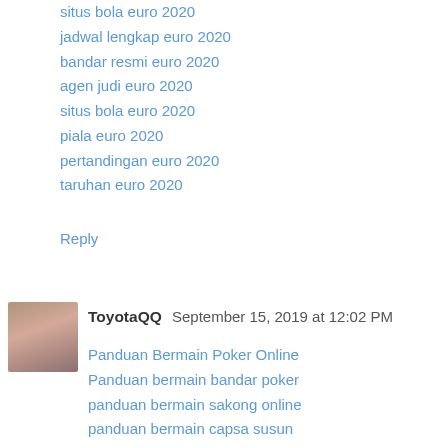situs bola euro 2020
jadwal lengkap euro 2020
bandar resmi euro 2020
agen judi euro 2020
situs bola euro 2020
piala euro 2020
pertandingan euro 2020
taruhan euro 2020
Reply
ToyotaQQ  September 15, 2019 at 12:02 PM
Panduan Bermain Poker Online
Panduan bermain bandar poker
panduan bermain sakong online
panduan bermain capsa susun
panduan bermain dominoqq
pandaun bermain aduq
panduan bermain bandar66
panduan bermain bandarq
http://www.pastiuntung.net/panduan-poker/
http://www.pastiuntung.net/panduan-bermain-bandar-poker/